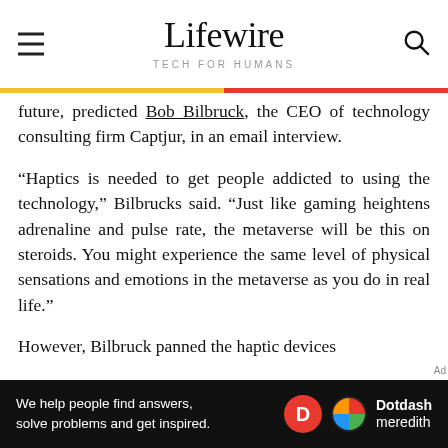Lifewire — TECH FOR HUMANS
future, predicted Bob Bilbruck, the CEO of technology consulting firm Captjur, in an email interview.
“Haptics is needed to get people addicted to using the technology,” Bilbrucks said. “Just like gaming heightens adrenaline and pulse rate, the metaverse will be this on steroids. You might experience the same level of physical sensations and emotions in the metaverse as you do in real life.”
However, Bilbruck panned the haptic devices
We help people find answers, solve problems and get inspired. Dotdash meredith